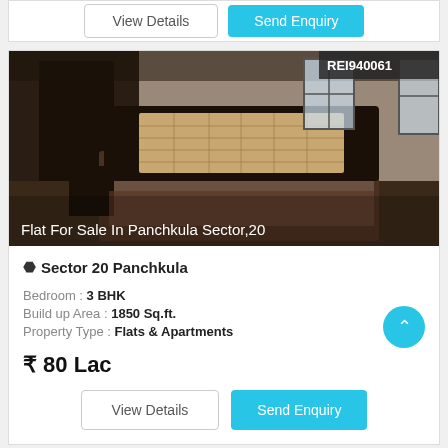View Details | Send Enquiry
[Figure (photo): Interior bedroom photo of a flat in Panchkula Sector 20, showing a bed with ornate headboard, windows, and dark furniture. REI940061 badge visible. Overlay text: Flat For Sale In Panchkula Sector,20]
Sector 20 Panchkula
Bedroom : 3 BHK
Build up Area : 1850 Sq.ft.
Property Type : Flats & Apartments
₹ 80 Lac
View Details | Send Enquiry
REI939629